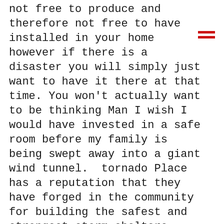not free to produce and therefore not free to have installed in your home however if there is a disaster you will simply just want to have it there at that time. You won't actually want to be thinking Man I wish I would have invested in a safe room before my family is being swept away into a giant wind tunnel.  tornado Place has a reputation that they have forged in the community for building the safest and strongest storm shelters known to man.

They have become experts at